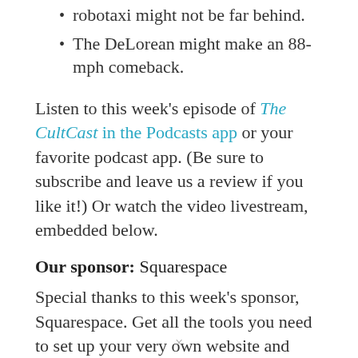robotaxi might not be far behind.
The DeLorean might make an 88-mph comeback.
Listen to this week's episode of The CultCast in the Podcasts app or your favorite podcast app. (Be sure to subscribe and leave us a review if you like it!) Or watch the video livestream, embedded below.
Our sponsor: Squarespace
Special thanks to this week's sponsor, Squarespace. Get all the tools you need to set up your very own website and commence selling anything online. Start your free website trial today at squarespace.com/cultcast (no credit card
×